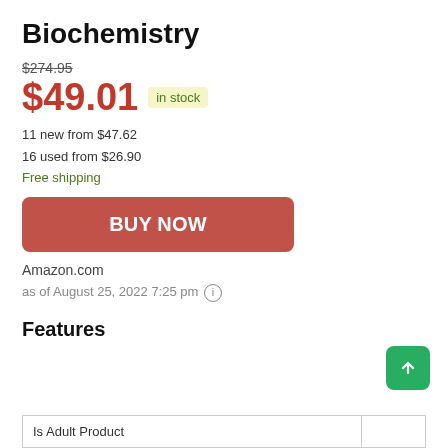Biochemistry
$274.95
$49.01  in stock
11 new from $47.62
16 used from $26.90
Free shipping
BUY NOW
Amazon.com
as of August 25, 2022 7:25 pm ⓘ
Features
| Is Adult Product |  |
| --- | --- |